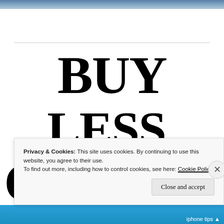[Figure (photo): Top strip showing a lifestyle/fashion photograph at the top of the webpage]
BUY LESS, CHOOSE
Privacy & Cookies: This site uses cookies. By continuing to use this website, you agree to their use.
To find out more, including how to control cookies, see here: Cookie Policy
[Figure (screenshot): Close and accept button for cookie banner, and X close button]